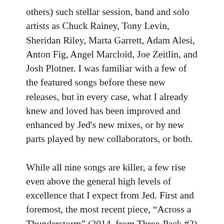others) such stellar session, band and solo artists as Chuck Rainey, Tony Levin, Sheridan Riley, Marta Garrett, Adam Alesi, Anton Fig, Angel Marcloid, Joe Zeitlin, and Josh Plotner. I was familiar with a few of the featured songs before these new releases, but in every case, what I already knew and loved has been improved and enhanced by Jed's new mixes, or by new parts played by new collaborators, or both.
While all nine songs are killer, a few rise even above the general high levels of excellence that I expect from Jed. First and foremost, the most recent piece, “Across a Thunderstorm” (2014, from Three-Pack #2) is absolutely one of the finest songs that Jed has ever composed and performed, and that’s truly saying something. It’s a slow-burn number featuring spacious piano and synths from Jed and subtle percussion from Anton Fig, and it just